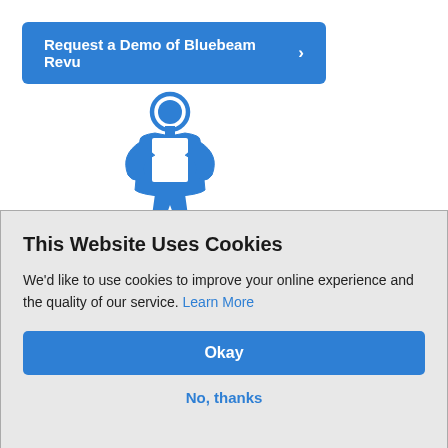[Figure (illustration): A blue rectangular button labeled 'Request a Demo of Bluebeam Revu >' on a white background, with a blue illustrated stick figure person below it]
This Website Uses Cookies
We’d like to use cookies to improve your online experience and the quality of our service. Learn More
[Figure (other): Okay button - blue rounded rectangle button with white bold text 'Okay']
No, thanks